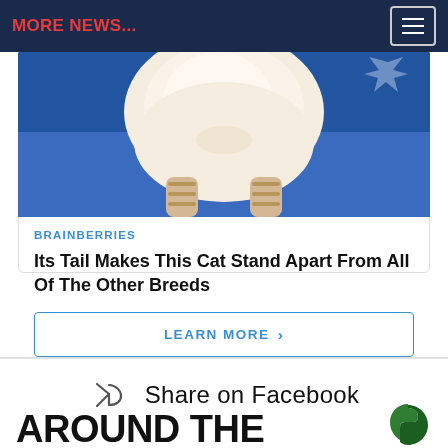MORE NEWS...
[Figure (photo): Close-up photo of a cat's fluffy rear end and striped legs from above, on a blue background]
BRAINBERRIES
Its Tail Makes This Cat Stand Apart From All Of The Other Breeds
LEARN MORE >
Share on Facebook
AROUND THE